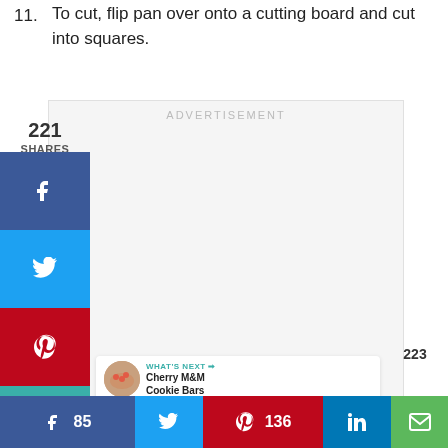11. To cut, flip pan over onto a cutting board and cut into squares.
[Figure (other): Advertisement placeholder box with 'ADVERTISEMENT' label and three gray dots at bottom]
221 SHARES
[Figure (other): Social sharing sidebar with Facebook, Twitter, Pinterest, and heart buttons]
[Figure (other): Floating circular teal heart button with count 223 and share button]
WHAT'S NEXT → Cherry M&M Cookie Bars
[Figure (other): Bottom social sharing bar with Facebook (85), Twitter, Pinterest (136), LinkedIn, and email buttons]